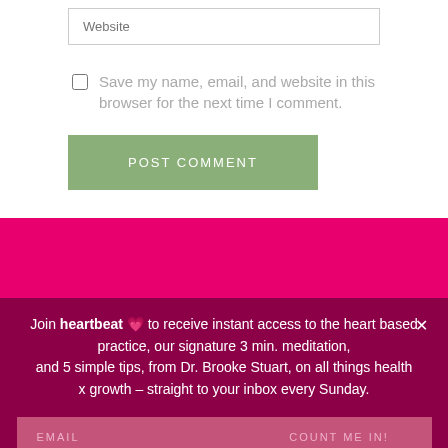Website
Save my name, email, and website in this browser for the next time I comment.
POST COMMENT
Join heartbeat 💗 to receive instant access to the heart based practice, our signature 3 min. meditation, and 5 simple tips, from Dr. Brooke Stuart, on all things health x growth – straight to your inbox every Sunday.
EMAIL
COUNT ME IN!